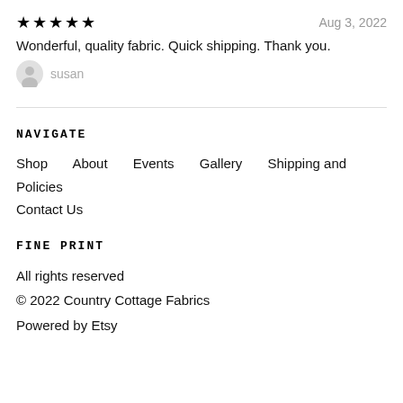★★★★★    Aug 3, 2022
Wonderful, quality fabric. Quick shipping. Thank you.
susan
NAVIGATE
Shop
About
Events
Gallery
Shipping and Policies
Contact Us
FINE PRINT
All rights reserved
© 2022 Country Cottage Fabrics
Powered by Etsy